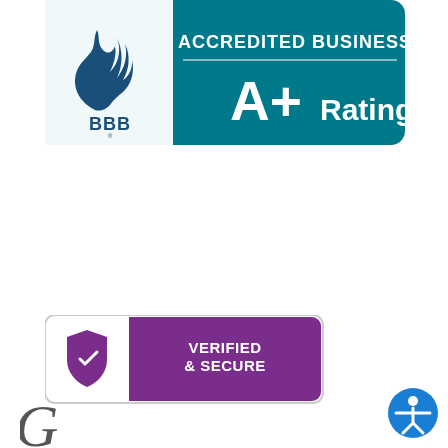[Figure (logo): Greater Kitchener Waterloo Chamber of Commerce logo with geometric blue and green cube shape and text: GREATER KITCHENER WATERLOO CHAMBER OF COMMERCE BUSINESS BUILDING COMMUNITY]
[Figure (logo): Better Business Bureau Accredited Business A+ Rating badge with teal/dark background, BBB torch flame logo on left, ACCREDITED BUSINESS and A+ Rating text on right]
[Figure (logo): Verified & Secure badge with purple background, white text VERIFIED & SECURE, and a shield/lock icon on left]
[Figure (logo): Partial G letter visible at bottom left, likely beginning of another logo or company name]
[Figure (logo): Blue circular accessibility icon with person figure, bottom right corner]